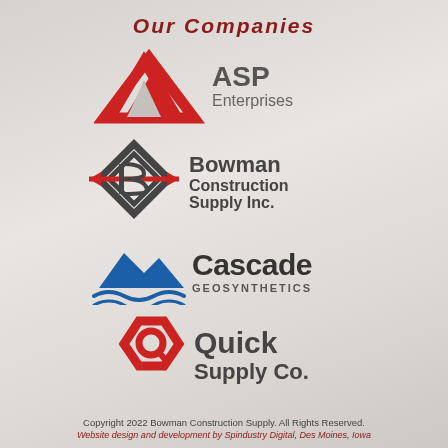Our Companies
[Figure (logo): ASP Enterprises logo — red and dark grey triangular/arrow mark with 'ASP Enterprises' text in bold dark grey]
[Figure (logo): Bowman Construction Supply Inc. logo — diamond shape with arrow and 'B' mark in dark grey and red, with bold text]
[Figure (logo): Cascade Geosynthetics logo — blue mountain peaks with wave below, bold 'Cascade' text with 'GEOSYNTHETICS' subtitle]
[Figure (logo): Quick Supply Co. logo — red hexagon Q mark with arrow, bold dark grey 'Quick Supply Co.' text]
Copyright 2022 Bowman Construction Supply. All Rights Reserved.
Website design and development by Spindustry Digital, Des Moines, Iowa